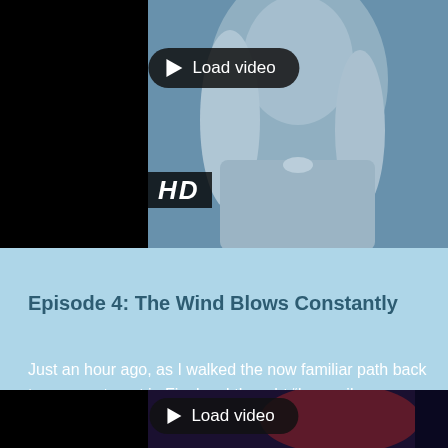[Figure (screenshot): Video thumbnail showing a woman with light hair and necklace against a blue background, with HD badge in lower left. A 'Load video' button overlays the image.]
Episode 4: The Wind Blows Constantly
Just an hour ago, as I walked the now familiar path back to my apartment in Finglas, I thought "I am miles away from the girl that left Dubl
[Figure (screenshot): Second video thumbnail showing a darker, reddish-toned image with a 'Load video' button overlay. Black bars on left and right.]